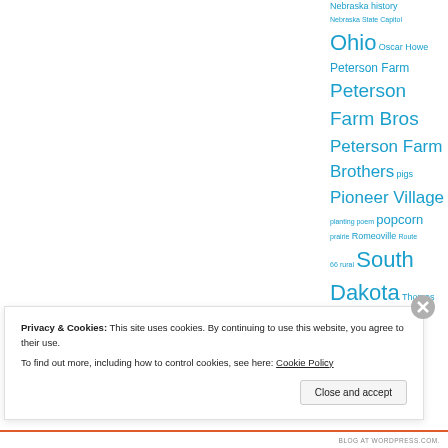Nebraska history
Nebraska State Capitol
Ohio
Oscar Howe
Peterson Farm
Peterson Farm Bros
Peterson Farm Brothers
pigs
Pioneer Village
planting poem
popcorn
prairie
Romeoville
Route 66
rural
South Dakota
Thomas Jefferson
trains
transportation
Washington
weather
Privacy & Cookies: This site uses cookies. By continuing to use this website, you agree to their use. To find out more, including how to control cookies, see here: Cookie Policy
Close and accept